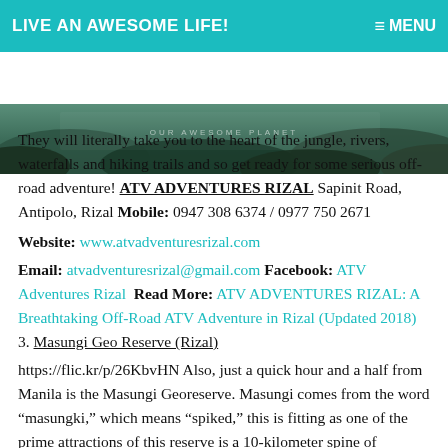LIVE AN AWESOME LIFE! | MENU
[Figure (photo): Jungle/nature aerial image with 'OUR AWESOME PLANET' watermark text]
They will literally take you to the heart of the jungle, rivers, waterfalls and hiking trails and so get ready for some serious off-road adventure! ATV ADVENTURES RIZAL Sapinit Road, Antipolo, Rizal Mobile: 0947 308 6374 / 0977 750 2671
Website: www.atvadventuresrizal.com
Email: atvadventuresrizal@gmail.com Facebook: ATV Adventures Rizal  Read More: ATV ADVENTURES RIZAL: A Breathtaking Off-Road ATV Adventure in Rizal (Updated 2018)   3. Masungi Geo Reserve (Rizal)
https://flic.kr/p/26KbvHN Also, just a quick hour and a half from Manila is the Masungi Georeserve. Masungi comes from the word “masungki,” which means “spiked,” this is fitting as one of the prime attractions of this reserve is a 10-kilometer spine of limestone